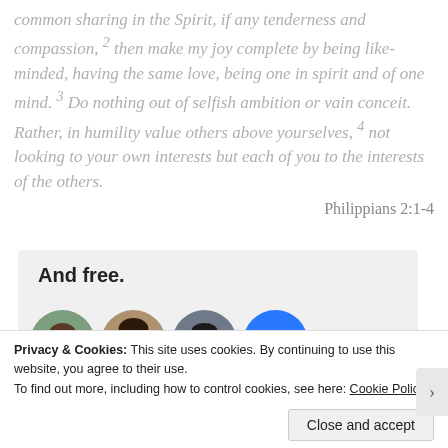common sharing in the Spirit, if any tenderness and compassion, 2 then make my joy complete by being like-minded, having the same love, being one in spirit and of one mind. 3 Do nothing out of selfish ambition or vain conceit. Rather, in humility value others above yourselves, 4 not looking to your own interests but each of you to the interests of the others.
Philippians 2:1-4
[Figure (other): Advertisement box with bold text 'And free.' and three circular profile photo avatars plus a blue circle with a plus sign]
Privacy & Cookies: This site uses cookies. By continuing to use this website, you agree to their use.
To find out more, including how to control cookies, see here: Cookie Policy
Close and accept